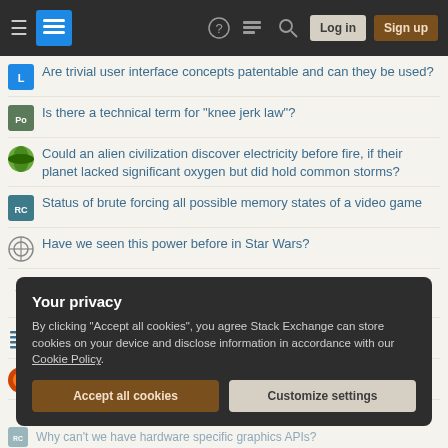Stack Exchange navigation bar with Log in and Sign up buttons
Are trivial user interface concepts patentable and can they be used?
Is there a technical term for "knee jerk law"?
Could an alien civilization discover electricity before fire, if their planet lacked significant oxygen but did hold common storms?
Status of brute forcing all possible memory states of a video game
Have we seen this power before in Star Wars?
Why are the zero stretch and shrink in the definition of \z@skip explicit?
Techniques for MNAR without Imputation
How to plot a function with n-terms
Your privacy
By clicking "Accept all cookies", you agree Stack Exchange can store cookies on your device and disclose information in accordance with our Cookie Policy.
Accept all cookies  Customize settings
Why can't we have hardware specific graphics APIs?